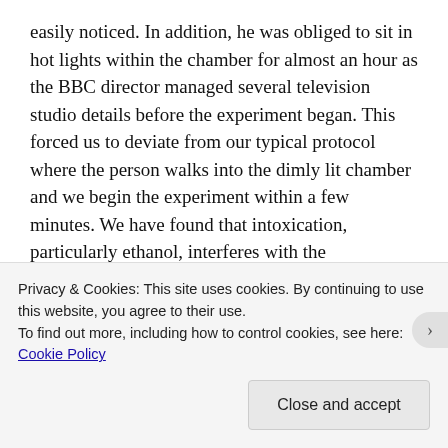easily noticed. In addition, he was obliged to sit in hot lights within the chamber for almost an hour as the BBC director managed several television studio details before the experiment began. This forced us to deviate from our typical protocol where the person walks into the dimly lit chamber and we begin the experiment within a few minutes. We have found that intoxication, particularly ethanol, interferes with the experimental induction of the sensed presence. That is why we always employed an EEG monitoring at the time of the exposure. If the brain state is not optimal, similar to the calm or relaxation that facilitates meditation or prayer, the fields do not
Privacy & Cookies: This site uses cookies. By continuing to use this website, you agree to their use.
To find out more, including how to control cookies, see here: Cookie Policy